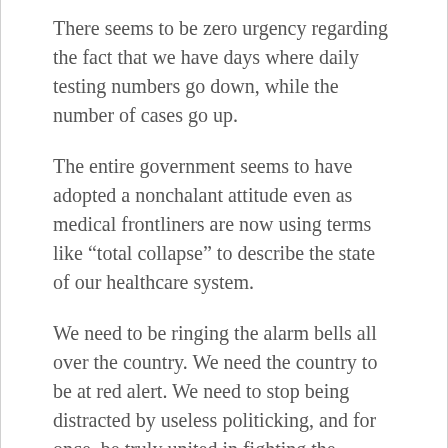There seems to be zero urgency regarding the fact that we have days where daily testing numbers go down, while the number of cases go up.
The entire government seems to have adopted a nonchalant attitude even as medical frontliners are now using terms like “total collapse” to describe the state of our healthcare system.
We need to be ringing the alarm bells all over the country. We need the country to be at red alert. We need to stop being distracted by useless politicking, and for once, be truly united in fighting the Covid-19 pandemic.
The country is facing what may very well be the worst, most life-threatening crisis we have ever faced in our existence, and we need the government to stop hiding